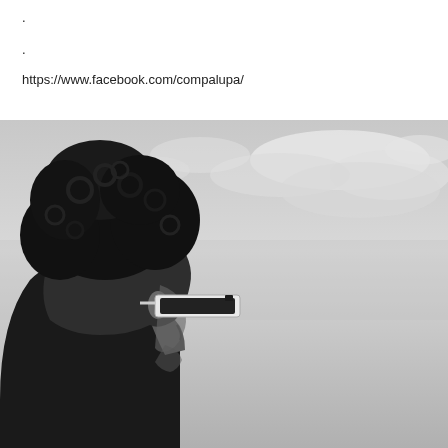.
.
https://www.facebook.com/compalupa/
[Figure (photo): Black and white profile photo of a young man with curly hair wearing sunglasses, photographed against a cloudy sky background, viewed from the side/back.]